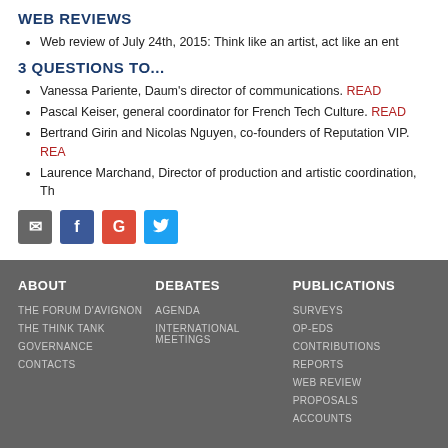WEB REVIEWS
Web review of July 24th, 2015: Think like an artist, act like an ent
3 QUESTIONS TO...
Vanessa Pariente, Daum's director of communications. READ
Pascal Keiser, general coordinator for French Tech Culture. READ
Bertrand Girin and Nicolas Nguyen, co-founders of Reputation VIP. REA
Laurence Marchand, Director of production and artistic coordination, Th
[Figure (infographic): Social sharing icons: email, Facebook, Google+, Twitter]
ABOUT | DEBATES | PUBLICATIONS footer columns with links: THE FORUM D'AVIGNON, THE THINK TANK, GOVERNANCE, CONTACTS, AGENDA, INTERNATIONAL MEETINGS, SURVEYS, OP-EDS, CONTRIBUTIONS, REPORTS, WEB REVIEW, PROPOSALS, ACCOUNTS